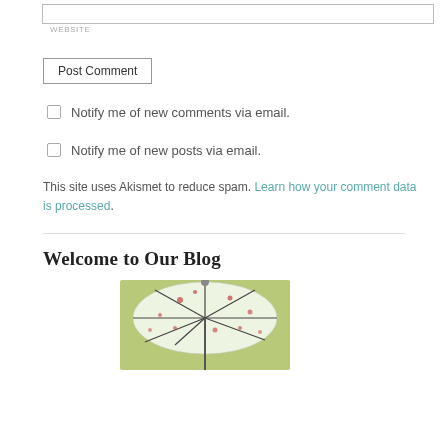WEBSITE
Post Comment
Notify me of new comments via email.
Notify me of new posts via email.
This site uses Akismet to reduce spam. Learn how your comment data is processed.
Welcome to Our Blog
[Figure (photo): Aerial view of an open umbrella with floral pattern on green grass background]